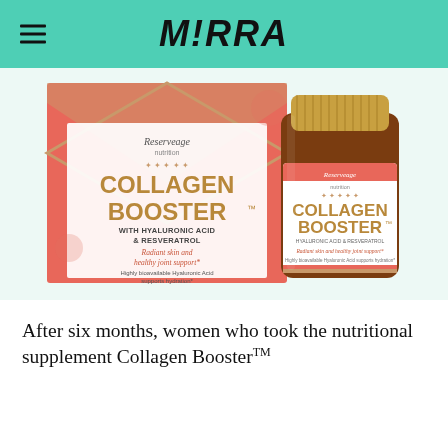M!RRA
[Figure (photo): Reserveage Nutrition Collagen Booster supplement product box and bottle with gold cap. Box shows 'COLLAGEN BOOSTER with Hyaluronic Acid & Resveratrol — Radiant skin and healthy joint support. Highly bioavailable Hyaluronic Acid supports hydration.' Bottle label reads 'Reserveage Collagen Booster Hyaluronic Acid & Resveratrol, Radiant skin and healthy joint support.']
After six months, women who took the nutritional supplement Collagen BoosterTM